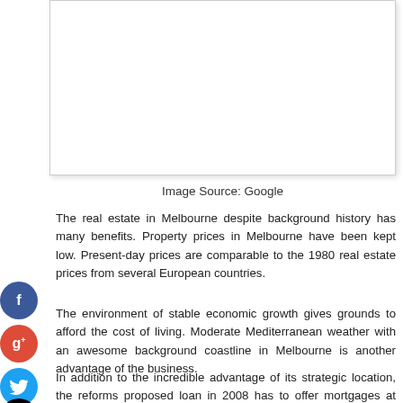[Figure (photo): Image placeholder box with white background and light border/shadow]
Image Source: Google
The real estate in Melbourne despite background history has many benefits. Property prices in Melbourne have been kept low. Present-day prices are comparable to the 1980 real estate prices from several European countries.
The environment of stable economic growth gives grounds to afford the cost of living. Moderate Mediterranean weather with an awesome background coastline in Melbourne is another advantage of the business.
In addition to the incredible advantage of its strategic location, the reforms proposed loan in 2008 has to offer mortgages at reasonable prices. This breakthrough step has an 'open market' for both local and international property buyers and